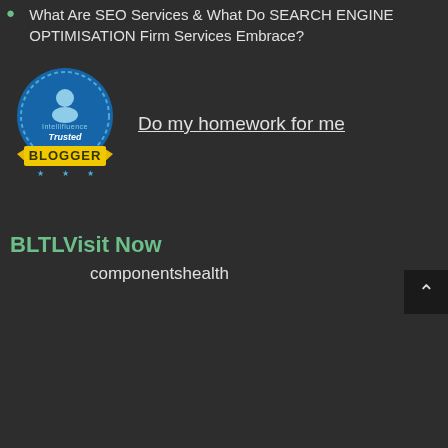What Are SEO Services & What Do SEARCH ENGINE OPTIMISATION Firm Services Embrace?
[Figure (logo): Intellifluence Trusted Blogger badge — circular blue badge with yellow ribbon banner reading BLOGGER]
Do my homework for me
BLTLVisit Now
componentshealth